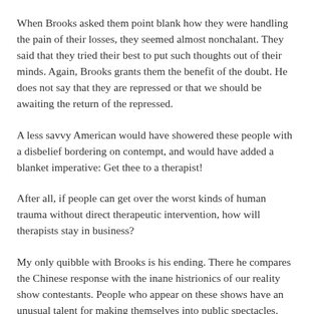When Brooks asked them point blank how they were handling the pain of their losses, they seemed almost nonchalant. They said that they tried their best to put such thoughts out of their minds. Again, Brooks grants them the benefit of the doubt. He does not say that they are repressed or that we should be awaiting the return of the repressed.
A less savvy American would have showered these people with a disbelief bordering on contempt, and would have added a blanket imperative: Get thee to a therapist!
After all, if people can get over the worst kinds of human trauma without direct therapeutic intervention, how will therapists stay in business?
My only quibble with Brooks is his ending. There he compares the Chinese response with the inane histrionics of our reality show contestants. People who appear on these shows have an unusual talent for making themselves into public spectacles. Why compare a self-selected group of shameless self-promoters with a group of humble villagers in central China.